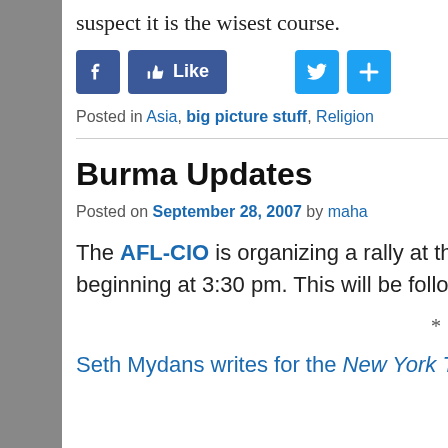suspect it is the wisest course.
[Figure (screenshot): Social media sharing buttons: Facebook icon, Like button, Twitter icon, and share plus button]
Posted in Asia, big picture stuff, Religion
Burma Updates
Posted on September 28, 2007 by maha
The AFL-CIO is organizing a rally at the Burmese embassy today in Washington, DC, beginning at 3:30 pm. This will be followed by a march to the Chinese embassy.
* * *
Seth Mydans writes for the New York Times: